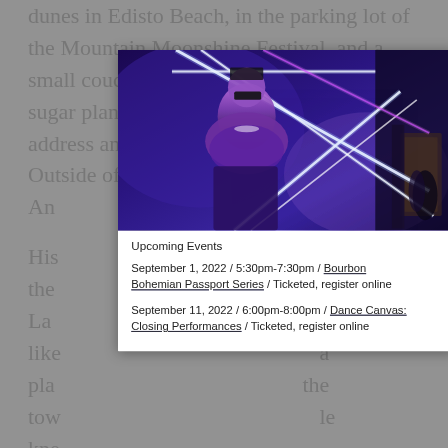dunes in Edisto Beach, in the parking lot of the Mountain Moonshine Festival, and a small couch in a big room on a Louisiana sugar plantation. Sometimes there was no address and he threw MapQuest for a loop. Outside of a shitty bar in Sav... An...
His ... or the ... La... like ... a pla... the tow... le kne... spi... me... was a m... ity Gr...
[Figure (photo): Woman in sunglasses and sequined outfit standing in front of neon diagonal light bars in a blue-lit venue]
Upcoming Events
September 1, 2022 / 5:30pm-7:30pm / Bourbon Bohemian Passport Series / Ticketed, register online
September 11, 2022 / 6:00pm-8:00pm / Dance Canvas: Closing Performances / Ticketed, register online